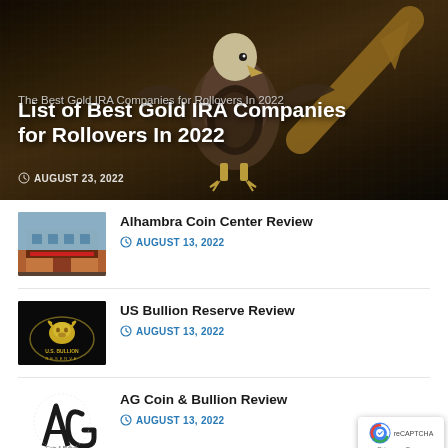[Figure (photo): Hero banner with eagle and gold arrow on dark brown background, overlaid with article title text]
List of Best Gold IRA Companies for Rollovers In 2022
The Best Gold IRA Companies for Rollovers In 2022
AUGUST 23, 2022
[Figure (photo): Thumbnail of Alhambra Coin Center building exterior]
Alhambra Coin Center Review
AUGUST 13, 2022
[Figure (logo): US Bullion Reserve logo on black background with gold bull icon]
US Bullion Reserve Review
AUGUST 13, 2022
[Figure (logo): AG Coin & Bullion logo in black on white background]
AG Coin & Bullion Review
AUGUST 13, 2022